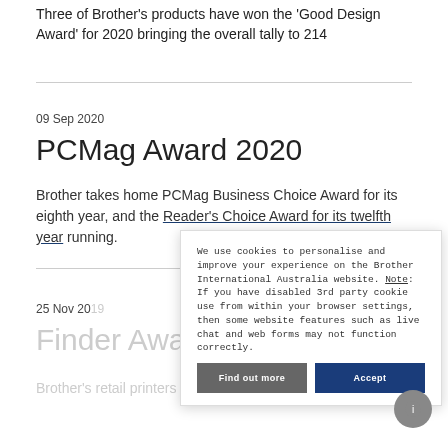Three of Brother's products have won the 'Good Design Award' for 2020 bringing the overall tally to 214
09 Sep 2020
PCMag Award 2020
Brother takes home PCMag Business Choice Award for its eighth year, and the Reader's Choice Award for its twelfth year running.
25 Nov 2019
Finder Awards 2019
Brother's products dominate retail printers in Australia from home val
We use cookies to personalise and improve your experience on the Brother International Australia website. Note: If you have disabled 3rd party cookie use from within your browser settings, then some website features such as live chat and web forms may not function correctly.